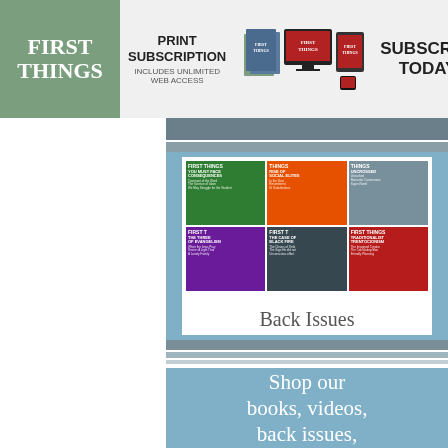[Figure (infographic): First Things magazine subscription banner ad with logo on left, 'Print Subscription Includes Unlimited Web Access' text in center, device images, and 'Subscribe Today!' on right]
[Figure (infographic): Back Issues promotional panel showing 6 First Things magazine covers in a 2x3 grid with 'Back Issues' text below, on a blue background with gray stripes]
[Figure (infographic): Blue panel with white text reading 'Shop our books, videos, back issues,']